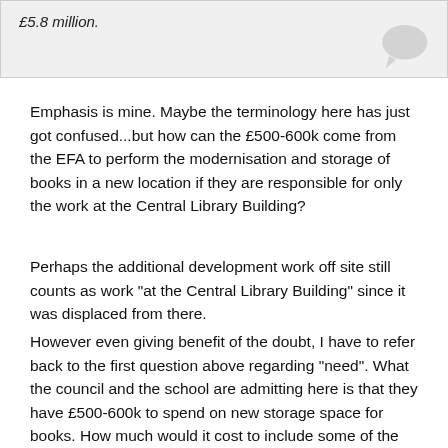[Figure (other): Partial quote box with italic text '£5.8 million.' and a faint speech bubble icon in the corner]
Emphasis is mine. Maybe the terminology here has just got confused...but how can the £500-600k come from the EFA to perform the modernisation and storage of books in a new location if they are responsible for only the work at the Central Library Building?
Perhaps the additional development work off site still counts as work "at the Central Library Building" since it was displaced from there.
However even giving benefit of the doubt, I have to refer back to the first question above regarding "need". What the council and the school are admitting here is that they have £500-600k to spend on new storage space for books. How much would it cost to include some of the facilities that would be used at